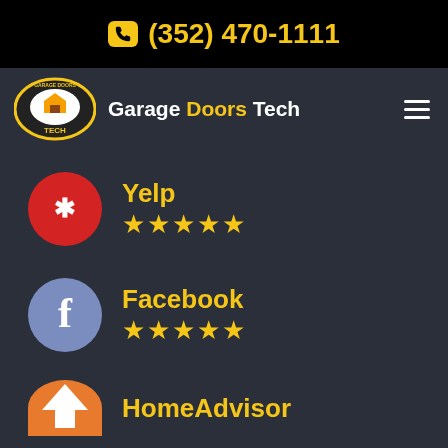(352) 470-1111
Garage Doors Tech
Yelp ★★★★★
Facebook ★★★★★
HomeAdvisor